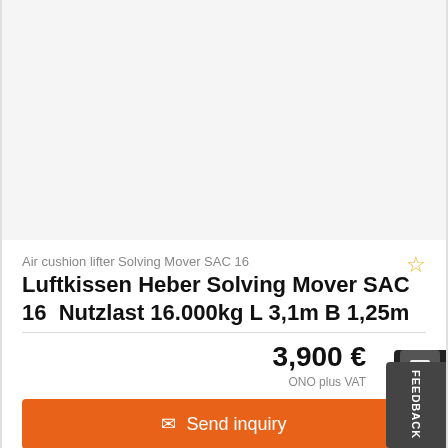[Figure (photo): Product image placeholder area (white/light gray background, no visible product image)]
Air cushion lifter Solving Mover SAC 16
Luftkissen Heber Solving Mover SAC 16 Nutzlast 16.000kg L 3,1m B 1,25m
3,900 €
ONO plus VAT
✉ Send inquiry
✆ Call
FEEDBACK